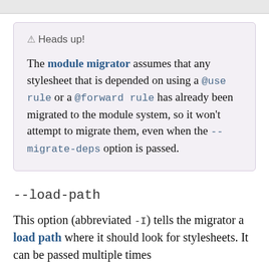⚠ Heads up!

The module migrator assumes that any stylesheet that is depended on using a @use rule or a @forward rule has already been migrated to the module system, so it won't attempt to migrate them, even when the --migrate-deps option is passed.
--load-path
This option (abbreviated -I) tells the migrator a load path where it should look for stylesheets. It can be passed multiple times